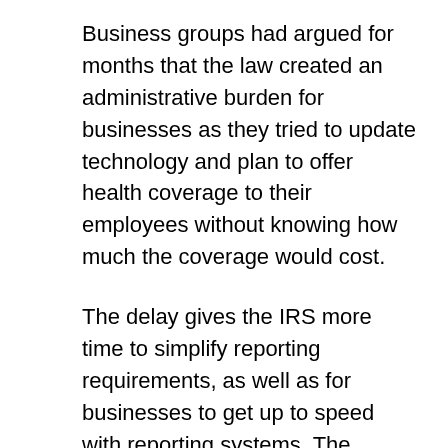Business groups had argued for months that the law created an administrative burden for businesses as they tried to update technology and plan to offer health coverage to their employees without knowing how much the coverage would cost.
The delay gives the IRS more time to simplify reporting requirements, as well as for businesses to get up to speed with reporting systems. The government still encourages businesses to voluntarily begin reporting in 2014 so they will be ready for 2015.
Supporters of the employer mandate note that most firms already provide health insurance to full time workers, and downplay the effect the requirement would have on